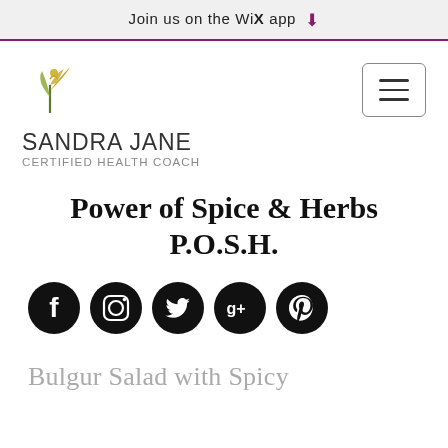Join us on the WiX app
[Figure (logo): Sandra Jane Certified Health Coach logo - stylized figure/plant icon in olive/gold color]
SANDRA JANE
CERTIFIED HEALTH COACH
Power of Spice & Herbs P.O.S.H.
[Figure (infographic): Row of 5 social media icons in black circles: Facebook, Instagram, Twitter, Google+, Pinterest]
Bulgur Salad with Spicy